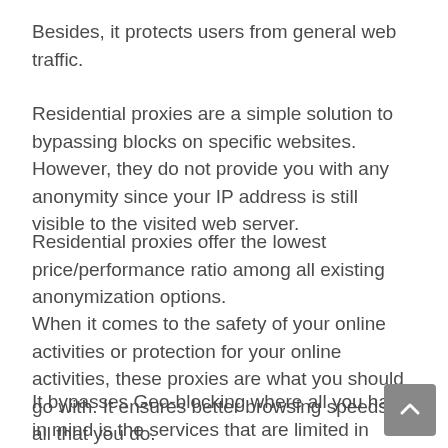Besides, it protects users from general web traffic.
Residential proxies are a simple solution to bypassing blocks on specific websites. However, they do not provide you with any anonymity since your IP address is still visible to the visited web server.
Residential proxies offer the lowest price/performance ratio among all existing anonymization options.
When it comes to the safety of your online activities or protection for your online activities, these proxies are what you should go with. It ensures better browsing speeds in all that you do.
It bypasses Geo-blocking where all you have in mind is the services that are limited in some areas around the world but not in others. Also, it allows you to be